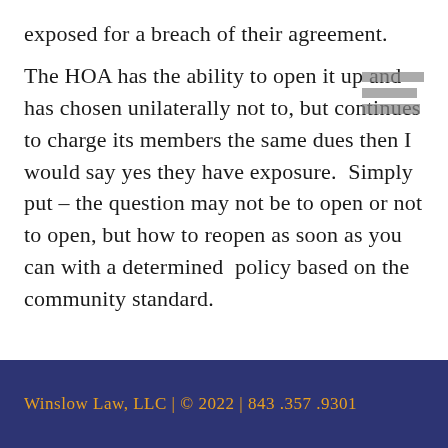exposed for a breach of their agreement.
The HOA has the ability to open it up and has chosen unilaterally not to, but continues to charge its members the same dues then I would say yes they have exposure.  Simply put – the question may not be to open or not to open, but how to reopen as soon as you can with a determined  policy based on the community standard.
Winslow Law, LLC | © 2022 | 843 .357 .9301